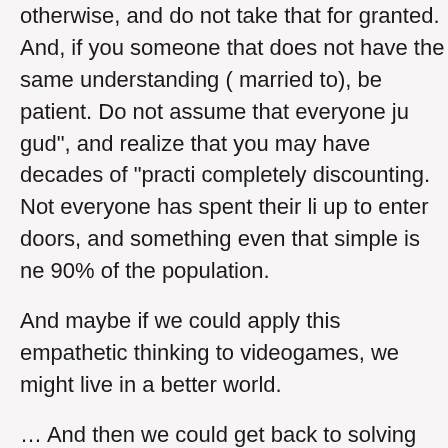otherwise, and do not take that for granted. And, if you someone that does not have the same understanding ( married to), be patient. Do not assume that everyone ju gud", and realize that you may have decades of "practi completely discounting. Not everyone has spent their li up to enter doors, and something even that simple is ne 90% of the population.
And maybe if we could apply this empathetic thinking to videogames, we might live in a better world.
… And then we could get back to solving our problems.
FGC #597 BOXBOY! + BOXGIRL!
System: Boxxy has been boxed into the Nintendo escape.
Number of players: Well, if it was single player, th an article here.
They have names, you know: Qbby is Boxboy, Qu wanted me to use those names, HAL, maybe you game QBBYL+ QUOYL